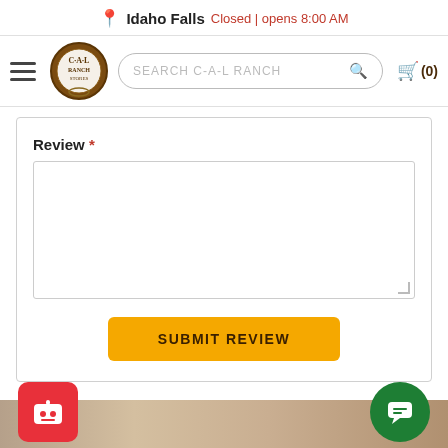Idaho Falls Closed | opens 8:00 AM
[Figure (screenshot): C-A-L Ranch Stores navigation bar with hamburger menu, logo, search bar, and cart icon]
Review *
[Figure (other): Empty review text area input field]
SUBMIT REVIEW
[Figure (other): Decorative wood-grain footer strip with bot/chat icons]